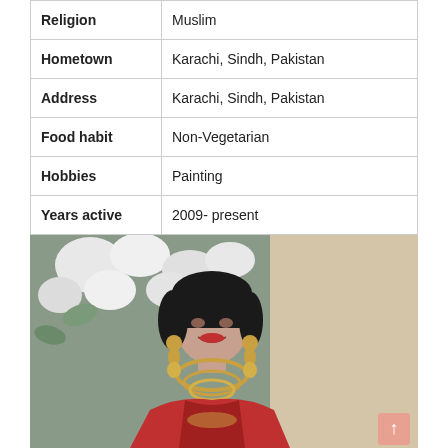| Field | Value |
| --- | --- |
| Religion | Muslim |
| Hometown | Karachi, Sindh, Pakistan |
| Address | Karachi, Sindh, Pakistan |
| Food habit | Non-Vegetarian |
| Hobbies | Painting |
| Years active | 2009- present |
[Figure (photo): A woman wearing a red outfit and gold jewelry (choker necklace and chandelier earrings) smiling, with white flowers and greenery in the background.]